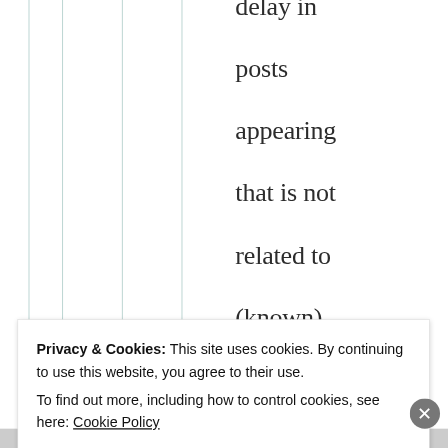delay in posts appearing that is not related to (known) human intervention. UNLESS… my replying is what
Privacy & Cookies: This site uses cookies. By continuing to use this website, you agree to their use.
To find out more, including how to control cookies, see here: Cookie Policy
Close and accept